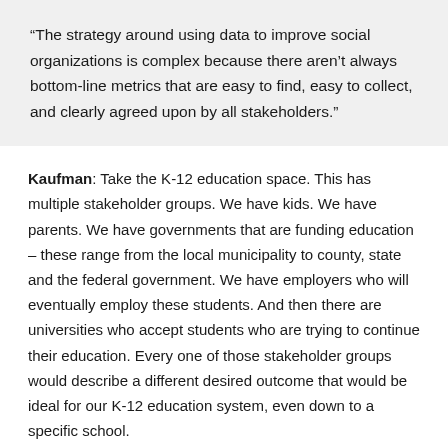“The strategy around using data to improve social organizations is complex because there aren’t always bottom-line metrics that are easy to find, easy to collect, and clearly agreed upon by all stakeholders.”
Kaufman: Take the K-12 education space. This has multiple stakeholder groups. We have kids. We have parents. We have governments that are funding education – these range from the local municipality to county, state and the federal government. We have employers who will eventually employ these students. And then there are universities who accept students who are trying to continue their education. Every one of those stakeholder groups would describe a different desired outcome that would be ideal for our K-12 education system, even down to a specific school.
For the first 100 years or so of public education in the United